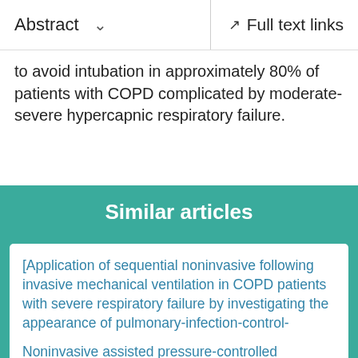Abstract  ∨    Full text links
to avoid intubation in approximately 80% of patients with COPD complicated by moderate-severe hypercapnic respiratory failure.
Similar articles
[Application of sequential noninvasive following invasive mechanical ventilation in COPD patients with severe respiratory failure by investigating the appearance of pulmonary-infection-control-window].
Zou SH, et al. Zhong Nan Da Xue Xue Bao Yi Xue Ban. 2006. PMID: 16562692 Clinical Trial. Chinese.
Noninvasive assisted pressure-controlled